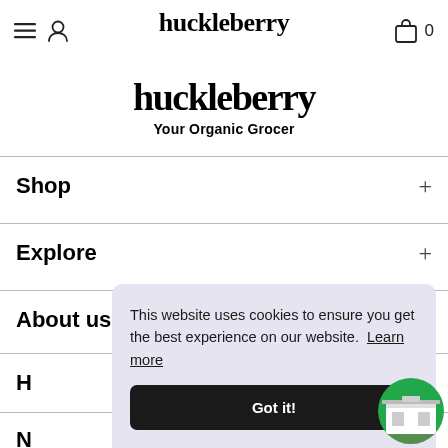huckleberry (top nav logo)
huckleberry
Your Organic Grocer
Shop +
Explore +
About us +
H (partial)
N (partial)
This website uses cookies to ensure you get the best experience on our website. Learn more
Got it!